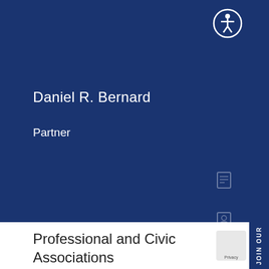[Figure (screenshot): Accessibility icon — circle with white stick figure person, outline style on dark blue background]
Daniel R. Bernard
Partner
[Figure (other): Dark blue sidebar with social/contact icons: document icon, contact card icon, envelope icon, phone icon]
Professional and Civic Associations
JOIN OUR